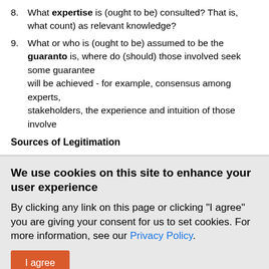8. What expertise is (ought to be) consulted? That is, what count) as relevant knowledge?
9. What or who is (ought to be) assumed to be the guarantor? That is, where do (should) those involved seek some guarantee of that will be achieved - for example, consensus among experts, stakeholders, the experience and intuition of those involved
Sources of Legitimation
We use cookies on this site to enhance your user experience
By clicking any link on this page or clicking "I agree" you are giving your consent for us to set cookies. For more information, see our Privacy Policy.
I agree